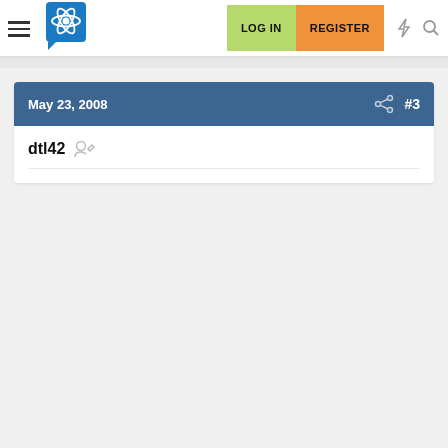LOG IN  REGISTER
May 23, 2008  #3
dtl42